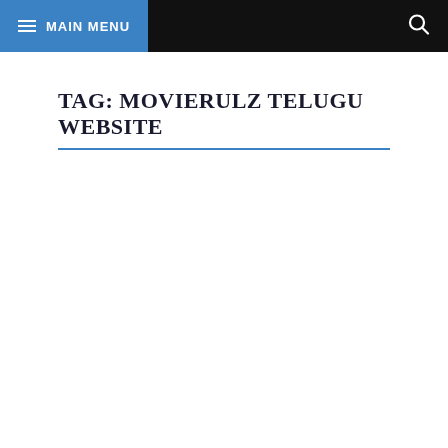☰ MAIN MENU
TAG: MOVIERULZ TELUGU WEBSITE